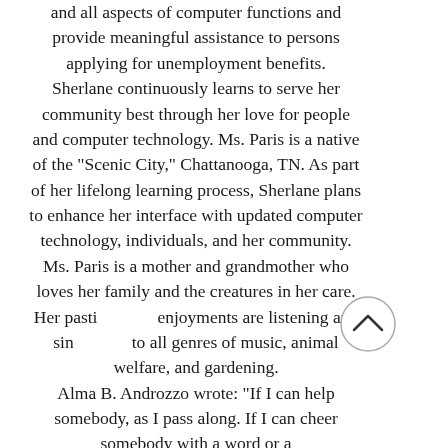and all aspects of computer functions and provide meaningful assistance to persons applying for unemployment benefits. Sherlane continuously learns to serve her community best through her love for people and computer technology. Ms. Paris is a native of the "Scenic City," Chattanooga, TN. As part of her lifelong learning process, Sherlane plans to enhance her interface with updated computer technology, individuals, and her community. Ms. Paris is a mother and grandmother who loves her family and the creatures in her care. Her pastime enjoyments are listening and singing to all genres of music, animal welfare, and gardening. Alma B. Androzzo wrote: "If I can help somebody, as I pass along. If I can cheer somebody with a word or a